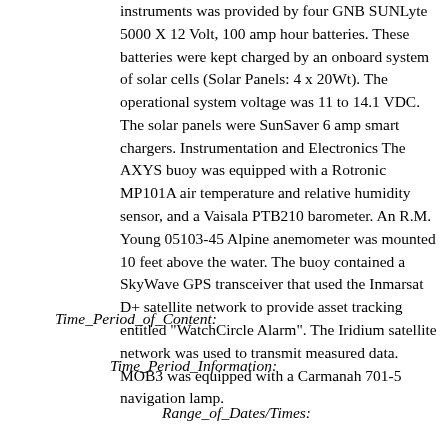instruments was provided by four GNB SUNLyte 5000 X 12 Volt, 100 amp hour batteries. These batteries were kept charged by an onboard system of solar cells (Solar Panels: 4 x 20Wt). The operational system voltage was 11 to 14.1 VDC. The solar panels were SunSaver 6 amp smart chargers. Instrumentation and Electronics The AXYS buoy was equipped with a Rotronic MP101A air temperature and relative humidity sensor, and a Vaisala PTB210 barometer. An R.M. Young 05103-45 Alpine anemometer was mounted 10 feet above the water. The buoy contained a SkyWave GPS transceiver that used the Inmarsat D+ satellite network to provide asset tracking entitled "WatchCircle Alarm". The Iridium satellite network was used to transmit measured data. MOB3 was equipped with a Carmanah 701-5 navigation lamp.
Time_Period_of_Content:
Time_Period_Information:
Range_of_Dates/Times: